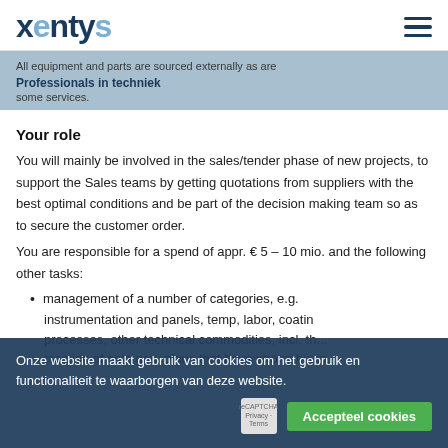xentys
All equipment and parts are sourced externally as are some services.
Professionals in techniek
Your role
You will mainly be involved in the sales/tender phase of new projects, to support the Sales teams by getting quotations from suppliers with the best optimal conditions and be part of the decision making team so as to secure the customer order.
You are responsible for a spend of appr. € 5 – 10 mio. and the following other tasks:
management of a number of categories, e.g.
instrumentation and panels, temp, labor, coating processes, other technical commodities, incl. th...
creation of cate gory plans that have strong busin...
Onze website maakt gebruik van cookies om het gebruik en functionaliteit te waarborgen van deze website.